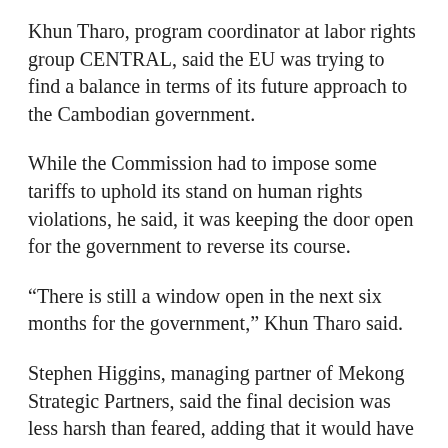Khun Tharo, program coordinator at labor rights group CENTRAL, said the EU was trying to find a balance in terms of its future approach to the Cambodian government.
While the Commission had to impose some tariffs to uphold its stand on human rights violations, he said, it was keeping the door open for the government to reverse its course.
“There is still a window open in the next six months for the government,” Khun Tharo said.
Stephen Higgins, managing partner of Mekong Strategic Partners, said the final decision was less harsh than feared, adding that it would have a modest impact on Cambodia’s economy.